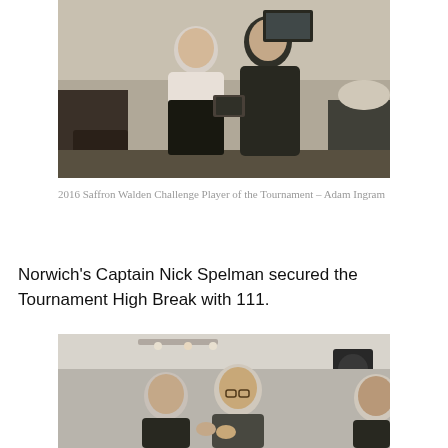[Figure (photo): Two men standing indoors, one appears to be presenting/receiving an award or item, in what looks like a pub or club setting with chairs and tables in the background.]
2016 Saffron Walden Challenge Player of the Tournament – Adam Ingram
Norwich’s Captain Nick Spelman secured the Tournament High Break with 111.
[Figure (photo): Three men standing together indoors, appearing to be in conversation or presentation, in a venue with speakers and lighting visible.]